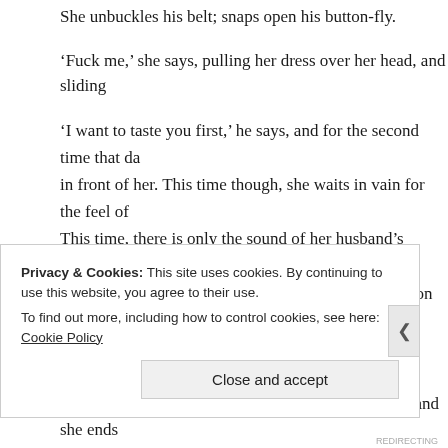She unbuckles his belt; snaps open his button-fly.
‘Fuck me,’ she says, pulling her dress over her head, and sliding
‘I want to taste you first,’ he says, and for the second time that da in front of her. This time though, she waits in vain for the feel of This time, there is only the sound of her husband’s voice, caught confusion and disgust, saying ‘Why is there lipstick on your cunt
*
She loses them both. Josh asks for a trial separation and she ends she can’t look at him without recalling the mess she’s made of he
Privacy & Cookies: This site uses cookies. By continuing to use this website, you agree to their use.
To find out more, including how to control cookies, see here: Cookie Policy
Close and accept